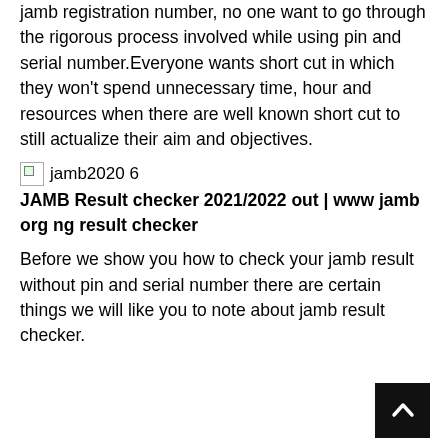jamb registration number, no one want to go through the rigorous process involved while using pin and serial number.Everyone wants short cut in which they won't spend unnecessary time, hour and resources when there are well known short cut to still actualize their aim and objectives.
[Figure (illustration): Broken image placeholder icon with text 'jamb2020 6']
JAMB Result checker 2021/2022 out | www jamb org ng result checker
Before we show you how to check your jamb result without pin and serial number there are certain things we will like you to note about jamb result checker.